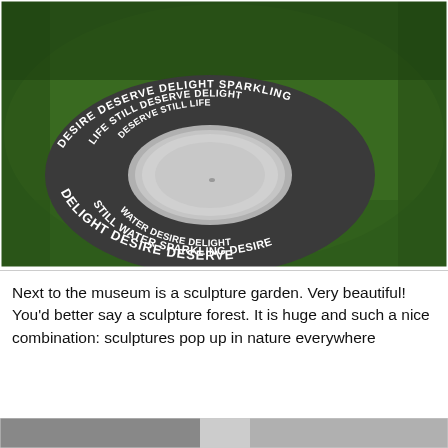[Figure (photo): A circular stone/metal sculpture on green grass with the words DELIGHT DESIRE DESERVE STILL WATER SPARKLING LIFE arranged in concentric rings around a plain central circle.]
Next to the museum is a sculpture garden. Very beautiful! You'd better say a sculpture forest. It is huge and such a nice combination:
sculptures pop up in nature everywhere
[Figure (photo): Partial view of another outdoor sculpture or stone feature, cropped at bottom of page.]